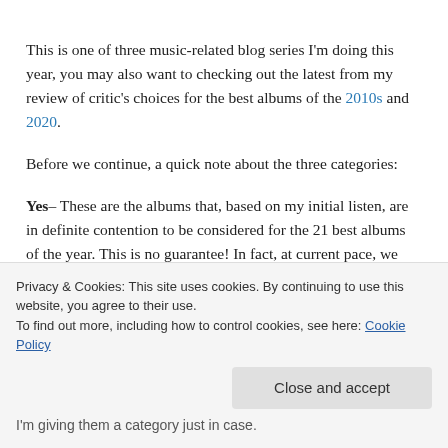This is one of three music-related blog series I'm doing this year, you may also want to checking out the latest from my review of critic's choices for the best albums of the 2010s and 2020.
Before we continue, a quick note about the three categories:
Yes– These are the albums that, based on my initial listen, are in definite contention to be considered for the 21 best albums of the year. This is no guarantee! In fact, at current pace, we might end up with as many as 200 possibilities by the end of the year, so there's going to be quite a reckoning
Privacy & Cookies: This site uses cookies. By continuing to use this website, you agree to their use.
To find out more, including how to control cookies, see here: Cookie Policy
I'm giving them a category just in case.